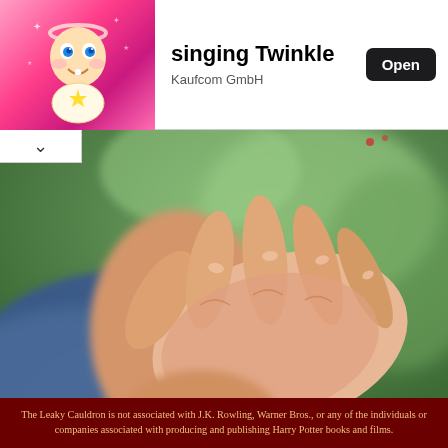[Figure (screenshot): App advertisement banner showing singing Twinkle app by Kaufcom GmbH with animated baby character on pink background]
[Figure (photo): Close-up photograph of a cupped hand, associated with article about hand sanitizer dangers]
The Dangers Of Hand Sanitizer
InspireDot
[Figure (photo): Photo of two people, a dark-haired person and a blonde person in close proximity]
The Leaky Cauldron is not associated with J.K. Rowling, Warner Bros., or any of the individuals or companies associated with producing and publishing Harry Potter books and films.